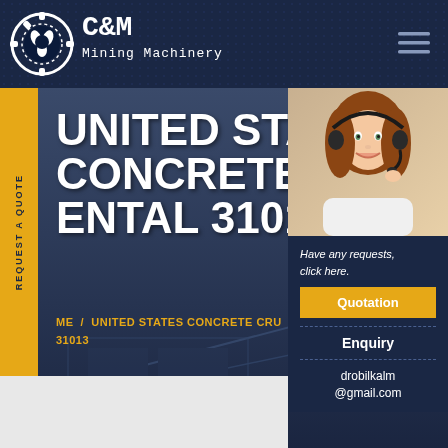[Figure (logo): C&M Mining Machinery logo with gear/claw icon and text]
UNITED STATES CONCRETE CRUSHER RENTAL 31013
REQUEST A QUOTE
[Figure (photo): Customer service representative wearing a headset, smiling]
Have any requests, click here.
Quotation
Enquiry
drobilkalm@gmail.com
ME / UNITED STATES CONCRETE CRUSHER RENTAL 31013